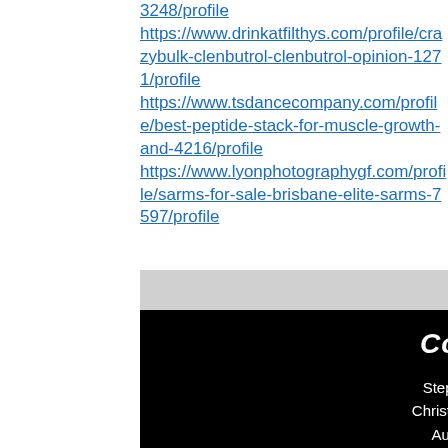3248/profile
https://www.drinkatfilthys.com/profile/crazybulk-clenbutrol-clenbutrol-opinion-1271/profile
https://www.tsdancecompany.com/profile/best-peptide-stack-for-muscle-growth-and-4216/profile
https://www.lyonphotographygf.com/profile/sarms-for-sale-brisbane-elite-sarms-7597/profile
Contact Us
Stephen - 0872507382
Christopher - 0862223238
Austin (Parts Only) - 0861082606
Office - 0749145479
Email - templetrailers@gmail.com